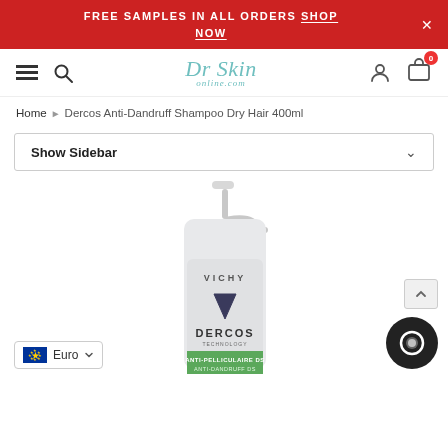FREE SAMPLES IN ALL ORDERS SHOP NOW
[Figure (logo): Dr Skin online.com logo with teal/mint color italic serif font]
Home > Dercos Anti-Dandruff Shampoo Dry Hair 400ml
Show Sidebar
[Figure (photo): Vichy Dercos Anti-Pelliculaire DS Anti-Dandruff DS shampoo bottle (400ml) with pump dispenser, white/light grey bottle with green accent label]
Euro